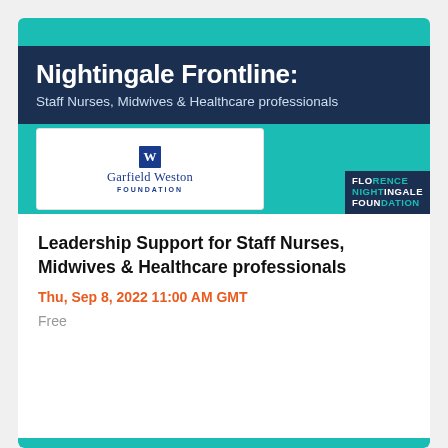[Figure (other): Nightingale Frontline event banner with teal and dark navy background. Shows 'Nightingale Frontline: Staff Nurses, Midwives & Healthcare professionals' heading, Garfield Weston Foundation logo, and Florence Nightingale Foundation logo.]
Leadership Support for Staff Nurses, Midwives & Healthcare professionals
Thu, Sep 8, 2022 11:00 AM GMT
Free